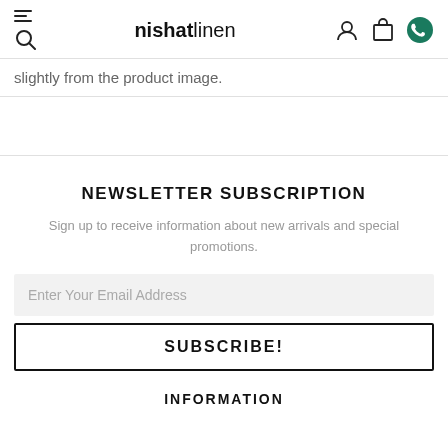nishatlinen
slightly from the product image.
NEWSLETTER SUBSCRIPTION
Sign up to receive information about new arrivals and special promotions.
Enter Your Email Address
SUBSCRIBE!
INFORMATION